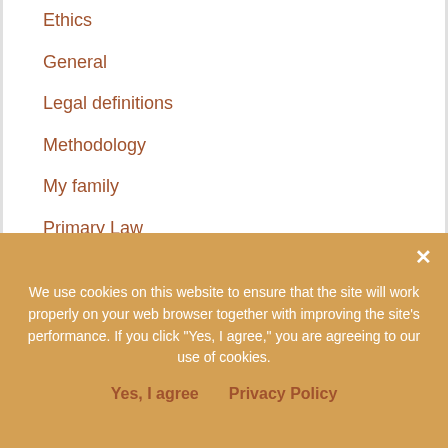Ethics
General
Legal definitions
Methodology
My family
Primary Law
Records Access
Resources
SSDI
Statutes
Terms of use
Archives
We use cookies on this website to ensure that the site will work properly on your web browser together with improving the site's performance. If you click "Yes, I agree," you are agreeing to our use of cookies.
Yes, I agree    Privacy Policy